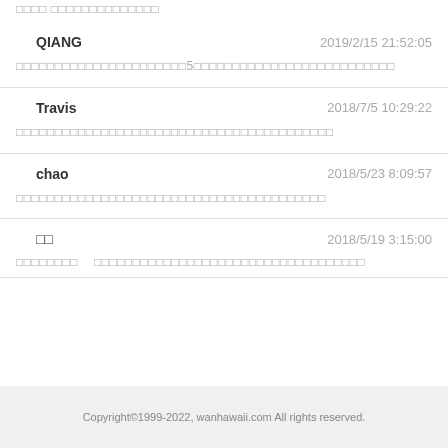□□□□ □□□□□□□□□□□□□□
QIANG  2019/2/15 21:52:05
□□□□□□□□□□□□□□□□□□□□□□5□□□□□□□□□□□□□□□□□□□□□□□□□□
Travis  2018/7/5 10:29:22
□□□□□□□□□□□□□□□□□□□□□□□□□□□□□□□□□□□□□□□□
chao  2018/5/23 8:09:57
□□□□□□□□□□□□□□□□□□□□□□□□□□□□□□□□□□□□□□□□
□□  2018/5/19 3:15:00
□□□□□□□□  □□□□□□□□□□□□□□□□□□□□□□□□□□□□□□□
Copyright©1999-2022, wanhawaii.com All rights reserved.